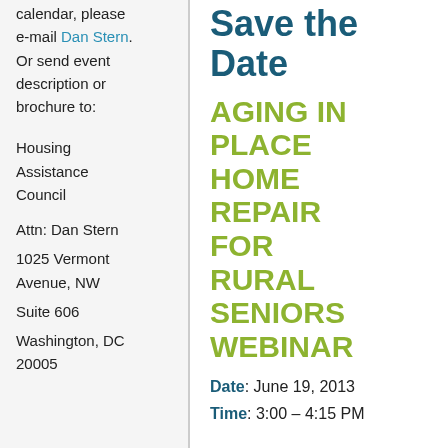calendar, please e-mail Dan Stern. Or send event description or brochure to:

Housing Assistance Council
Attn: Dan Stern
1025 Vermont Avenue, NW
Suite 606
Washington, DC 20005
Save the Date
AGING IN PLACE HOME REPAIR FOR RURAL SENIORS WEBINAR
Date: June 19, 2013
Time: 3:00 – 4:15 PM